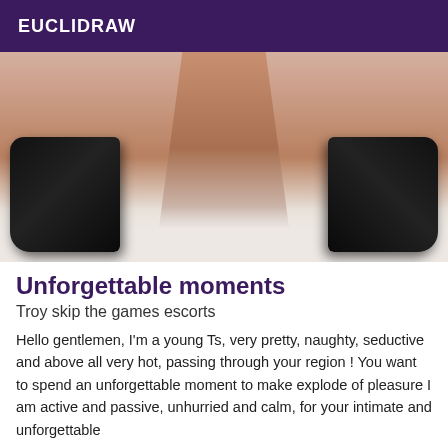EUCLIDRAW
[Figure (photo): Photo of person wearing black high-heeled boots on a white surface, viewed from behind]
Unforgettable moments
Troy skip the games escorts
Hello gentlemen, I'm a young Ts, very pretty, naughty, seductive and above all very hot, passing through your region ! You want to spend an unforgettable moment to make explode of pleasure I am active and passive, unhurried and calm, for your intimate and unforgettable